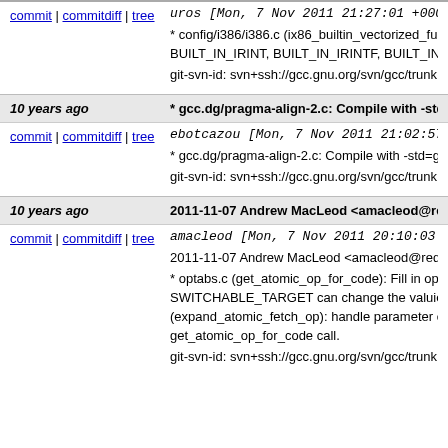commit | commitdiff | tree   uros [Mon, 7 Nov 2011 21:27:01 +0000 (21...
* config/i386/i386.c (ix86_builtin_vectorized_functi... BUILT_IN_IRINT, BUILT_IN_IRINTF, BUILT_IN_L... git-svn-id: svn+ssh://gcc.gnu.org/svn/gcc/trunk@1
10 years ago   * gcc.dg/pragma-align-2.c: Compile with -std=g...
commit | commitdiff | tree   ebotcazou [Mon, 7 Nov 2011 21:02:57 +000...
* gcc.dg/pragma-align-2.c: Compile with -std=gnu9... git-svn-id: svn+ssh://gcc.gnu.org/svn/gcc/trunk@1
10 years ago   2011-11-07 Andrew MacLeod <amacleod@redh...
commit | commitdiff | tree   amacleod [Mon, 7 Nov 2011 20:10:03 +0000...
2011-11-07 Andrew MacLeod <amacleod@redha... * optabs.c (get_atomic_op_for_code): Fill in optab... SWITCHABLE_TARGET can change the valuies c... (expand_atomic_fetch_op): handle parameter cha... get_atomic_op_for_code call. git-svn-id: svn+ssh://gcc.gnu.org/svn/gcc/trunk@1